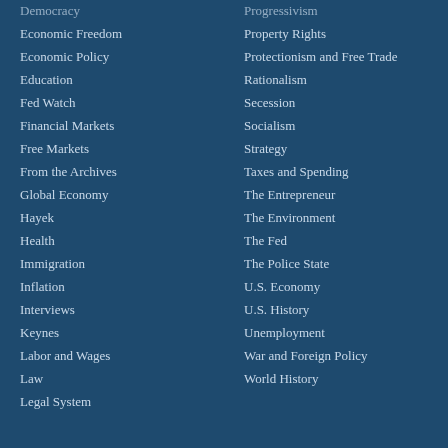Democracy
Economic Freedom
Economic Policy
Education
Fed Watch
Financial Markets
Free Markets
From the Archives
Global Economy
Hayek
Health
Immigration
Inflation
Interviews
Keynes
Labor and Wages
Law
Legal System
Progressivism
Property Rights
Protectionism and Free Trade
Rationalism
Secession
Socialism
Strategy
Taxes and Spending
The Entrepreneur
The Environment
The Fed
The Police State
U.S. Economy
U.S. History
Unemployment
War and Foreign Policy
World History